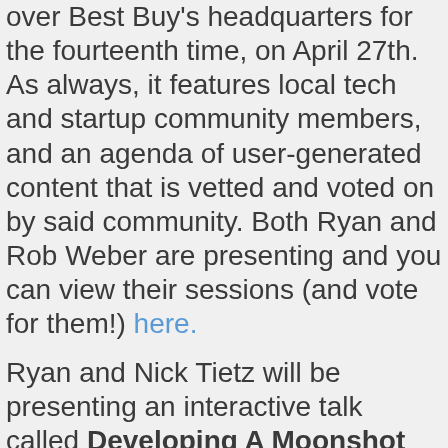over Best Buy's headquarters for the fourteenth time, on April 27th. As always, it features local tech and startup community members, and an agenda of user-generated content that is vetted and voted on by said community. Both Ryan and Rob Weber are presenting and you can view their sessions (and vote for them!) here.
Ryan and Nick Tietz will be presenting an interactive talk called Developing A Moonshot Idea – Broadening Perspective & Thinking Creatively:
“This session is an interactive session designed to help you learn new skills to strengthen your adaptiveness! The two techniques you’ll learn